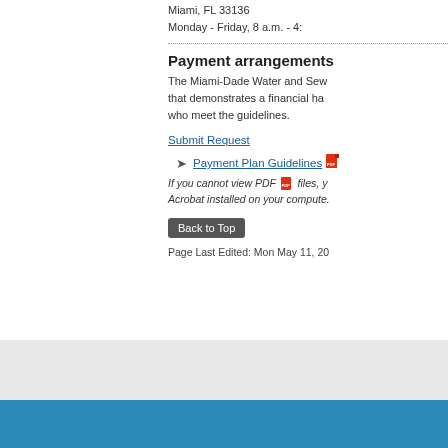Miami, FL 33136
Monday - Friday, 8 a.m. - 4:
Payment arrangements
The Miami-Dade Water and Sewer Department offers payment arrangements to any customer that demonstrates a financial hardship. Payment arrangements are available to customers who meet the guidelines.
Submit Request
Payment Plan Guidelines [PDF]
If you cannot view PDF files, you need to have Acrobat installed on your computer.
Back to Top
Page Last Edited: Mon May 11, 20
Home | Privacy Statement | Disclaimer | About Us |
© 2022 Miami-Dade County. All rights reserved.
[Figure (logo): Miami-Dade County logo with blue D shape and green COUNTY bar]
Select Language ▼
[Figure (infographic): Social media icons: Facebook, Twitter, YouTube, Instagram, RSS]